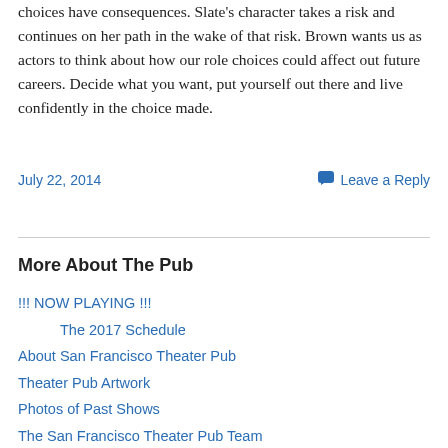choices have consequences. Slate's character takes a risk and continues on her path in the wake of that risk. Brown wants us as actors to think about how our role choices could affect out future careers. Decide what you want, put yourself out there and live confidently in the choice made.
July 22, 2014
Leave a Reply
More About The Pub
!!! NOW PLAYING !!!
The 2017 Schedule
About San Francisco Theater Pub
Theater Pub Artwork
Photos of Past Shows
The San Francisco Theater Pub Team
GET INVOLVED!!! (Casting and Submission Ops)